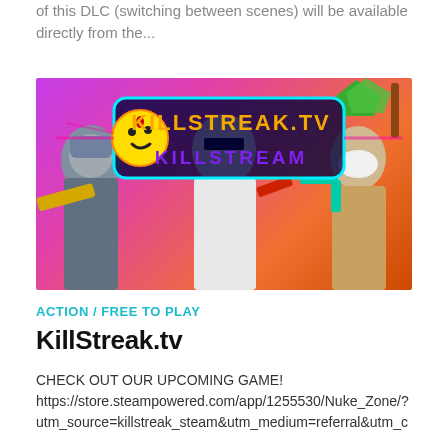of this DLC (switching between scenes) will be available directly from the...
[Figure (photo): KillStreak.tv game banner image showing cartoon characters with weapons on a colorful purple and orange background with the game logo 'KillStreak.tv / KILLSTREAM']
ACTION / FREE TO PLAY
KillStreak.tv
CHECK OUT OUR UPCOMING GAME!
https://store.steampowered.com/app/1255530/Nuke_Zone/?
utm_source=killstreak_steam&utm_medium=referral&utm_c